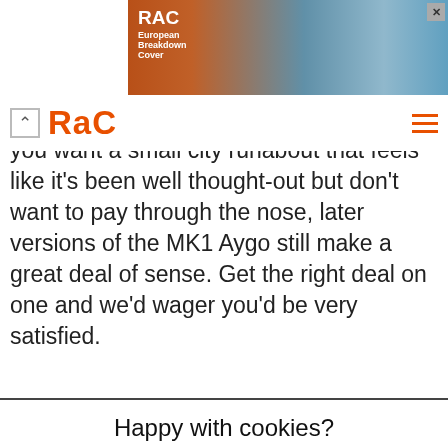[Figure (screenshot): RAC European Breakdown Cover advertisement banner with road/tunnel image]
[Figure (screenshot): RAC navigation bar with back button, orange RAC logo, and hamburger menu]
s not the last word in sophistication, but if you want a small city runabout that feels like it's been well thought-out but don't want to pay through the nose, later versions of the MK1 Aygo still make a great deal of sense. Get the right deal on one and we'd wager you'd be very satisfied.
Happy with cookies?
We use cookies to keep our site safe, understand how it's used, give you a better experience and show you more relevant ads. Read how we - and our partners - use cookies.
Yes, that's fine
No, manage cookies